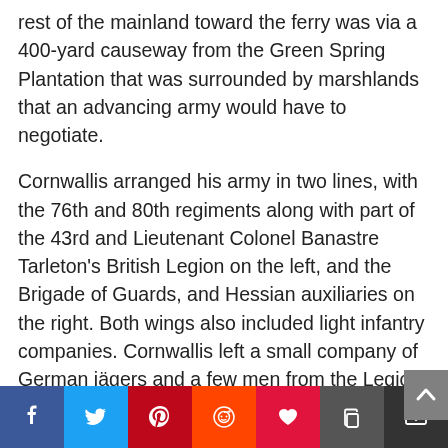rest of the mainland toward the ferry was via a 400-yard causeway from the Green Spring Plantation that was surrounded by marshlands that an advancing army would have to negotiate.
Cornwallis arranged his army in two lines, with the 76th and 80th regiments along with part of the 43rd and Lieutenant Colonel Banastre Tarleton's British Legion on the left, and the Brigade of Guards, and Hessian auxiliaries on the right. Both wings also included light infantry companies. Cornwallis left a small company of German jägers and a few men from the Legion to give the appearance of a rear guard picket, and gave them specific orders to resist the American advance as much as possible.
On July 6, Wayne led Lafayette's advance company, about 500...
[Figure (other): Social media share bar with Facebook, Twitter, Pinterest, Reddit, heart/like, copy, and email buttons]